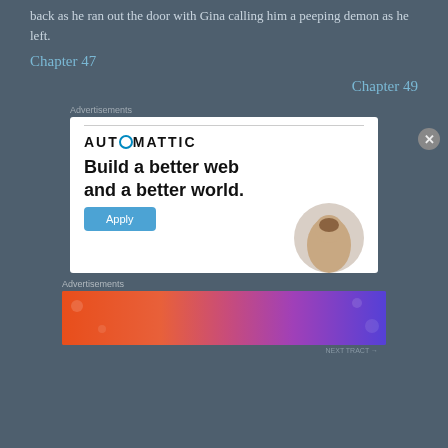back as he ran out the door with Gina calling him a peeping demon as he left.
Chapter 47
Chapter 49
Advertisements
[Figure (illustration): Automattic advertisement banner showing 'Build a better web and a better world.' tagline with an Apply button and a photo of a man]
Advertisements
[Figure (illustration): Fandom on Tumblr colorful banner advertisement]